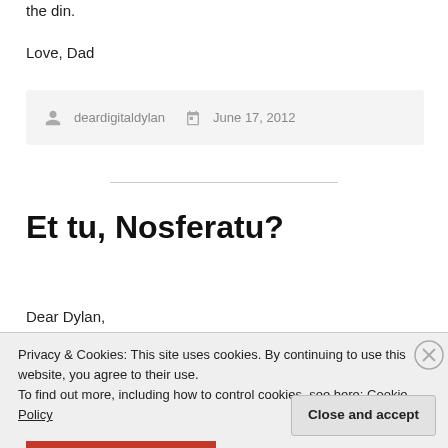the din.
Love, Dad
deardigitaldylan   June 17, 2012
Et tu, Nosferatu?
Dear Dylan,
Privacy & Cookies: This site uses cookies. By continuing to use this website, you agree to their use.
To find out more, including how to control cookies, see here: Cookie Policy
Close and accept